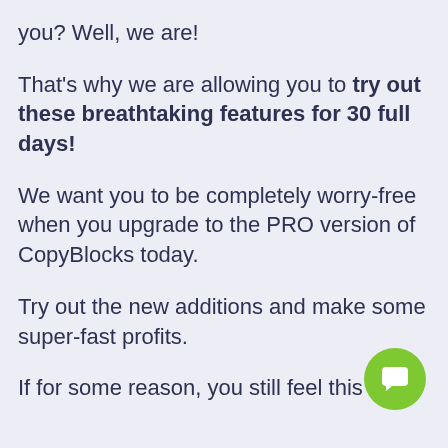you? Well, we are!
That's why we are allowing you to try out these breathtaking features for 30 full days!
We want you to be completely worry-free when you upgrade to the PRO version of CopyBlocks today.
Try out the new additions and make some super-fast profits.
If for some reason, you still feel this